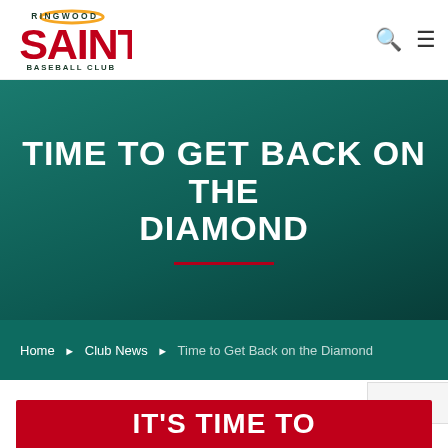Ringwood Saints Baseball Club
TIME TO GET BACK ON THE DIAMOND
Home ▶ Club News ▶ Time to Get Back on the Diamond
IT'S TIME TO